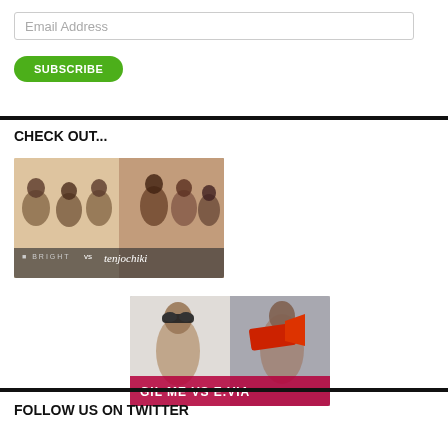Email Address
SUBSCRIBE
CHECK OUT...
[Figure (photo): Group photo of several women with text overlay reading 'BRIGHT vs tenjochiki']
[Figure (photo): Photo of two women, one with sunglasses and one holding a red megaphone, with text overlay reading 'GIL ME VS E.VIA']
FOLLOW US ON TWITTER